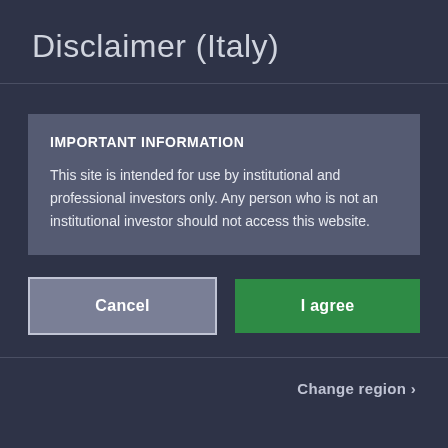Disclaimer (Italy)
IMPORTANT INFORMATION
This site is intended for use by institutional and professional investors only. Any person who is not an institutional investor should not access this website.
Cancel
I agree
Change region >